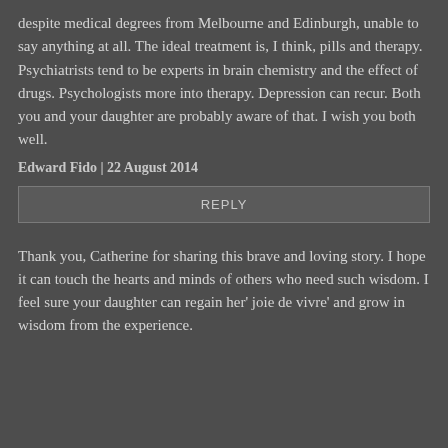despite medical degrees from Melbourne and Edinburgh, unable to say anything at all. The ideal treatment is, I think, pills and therapy. Psychiatrists tend to be experts in brain chemistry and the effect of drugs. Psychologists more into therapy. Depression can recur. Both you and your daughter are probably aware of that. I wish you both well.
Edward Fido | 22 August 2014
REPLY
Thank you, Catherine for sharing this brave and loving story. I hope it can touch the hearts and minds of others who need such wisdom. I feel sure your daughter can regain her' joie de vivre' and grow in wisdom from the experience.